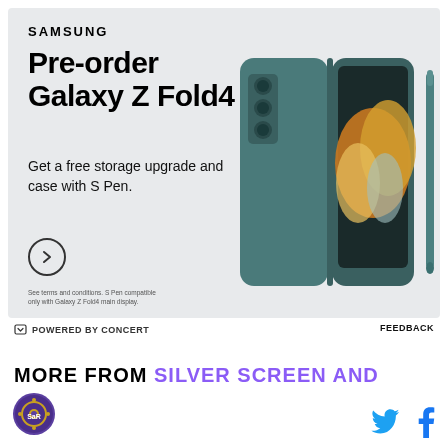[Figure (infographic): Samsung advertisement for Galaxy Z Fold4 pre-order. Features a teal/green folding phone with S Pen case on the right side. Text reads 'SAMSUNG', 'Pre-order Galaxy Z Fold4', 'Get a free storage upgrade and case with S Pen.', with a circular arrow button and small disclaimer text.]
POWERED BY CONCERT
FEEDBACK
MORE FROM SILVER SCREEN AND
[Figure (logo): Silver Screen and Roll site logo - circular purple/gold badge]
[Figure (illustration): Twitter bird icon in cyan blue and Facebook f icon in dark blue/navy]